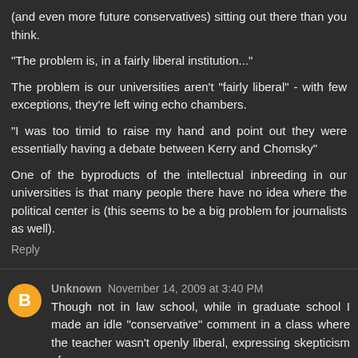(and even more future conservatives) sitting out there than you think.
"The problem is, in a fairly liberal institution..."
The problem is our universities aren't "fairly liberal" - with few exceptions, they're left wing echo chambers.
"I was too timid to raise my hand and point out they were essentially having a debate between Kerry and Chomsky"
One of the byproducts of the intellectual inbreeding in our universities is that many people there have no idea where the political center is (this seems to be a big problem for journalists as well).
Reply
Unknown November 14, 2009 at 3:40 PM
Though not in law school, while in graduate school I made an idle "conservative" comment in a class where the teacher wasn't openly liberal, expressing skepticism of